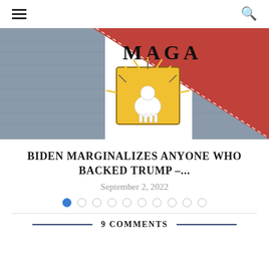☰  🔍
[Figure (photo): Close-up photo of a red triangular MAGA bandana/patch on denim fabric, with 'MAGA' text in large black serif letters and a cartoon/illustration patch showing a white goat figure with rays emanating outward on a yellow background.]
BIDEN MARGINALIZES ANYONE WHO BACKED TRUMP –...
September 2, 2022
[Figure (infographic): Pagination dots — one filled blue circle followed by nine empty/outline circles]
9 COMMENTS